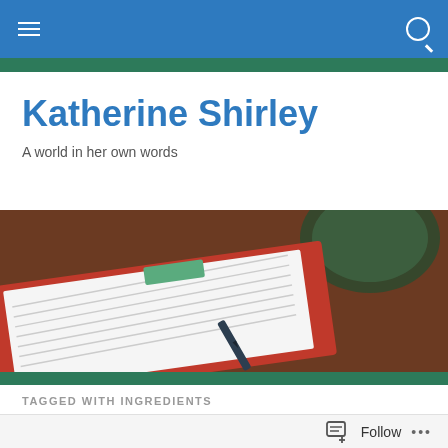Navigation bar with hamburger menu and search icon
Katherine Shirley
A world in her own words
[Figure (photo): A notebook with red cover and lined pages, a green bowl/cup visible at top, on a wooden surface. Green accent bar at bottom.]
TAGGED WITH INGREDIENTS
A change of scenery
Follow ...